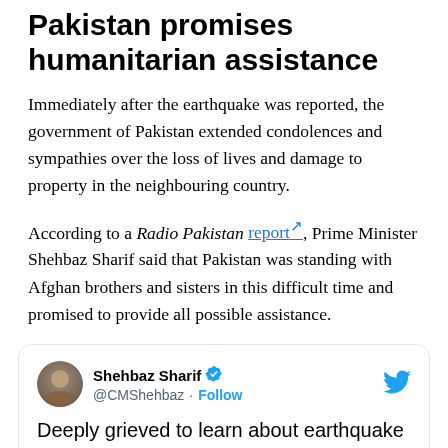Pakistan promises humanitarian assistance
Immediately after the earthquake was reported, the government of Pakistan extended condolences and sympathies over the loss of lives and damage to property in the neighbouring country.
According to a Radio Pakistan report, Prime Minister Shehbaz Sharif said that Pakistan was standing with Afghan brothers and sisters in this difficult time and promised to provide all possible assistance.
Shehbaz Sharif @CMShehbaz · Follow
Deeply grieved to learn about earthquake in Afghanistan, resulting in loss of innocent lives. People in Pakistan share the grief & sorrow of their Afghan brethren. Relevant